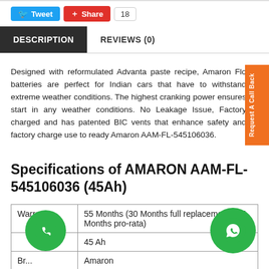[Figure (screenshot): Social sharing bar with Tweet button (blue), Share button (red), and count box showing 18]
DESCRIPTION    REVIEWS (0)
Designed with reformulated Advanta paste recipe, Amaron Flo batteries are perfect for Indian cars that have to withstand extreme weather conditions. The highest cranking power ensures start in any weather conditions. No Leakage Issue, Factory charged and has patented BIC vents that enhance safety and factory charge use to ready Amaron AAM-FL-545106036.
Specifications of AMARON AAM-FL-545106036 (45Ah)
|  |  |
| --- | --- |
| Warranty | 55 Months (30 Months full replacement +25 Months pro-rata) |
|  | 45 Ah |
| Br... | Amaron |
| Model | Flo |